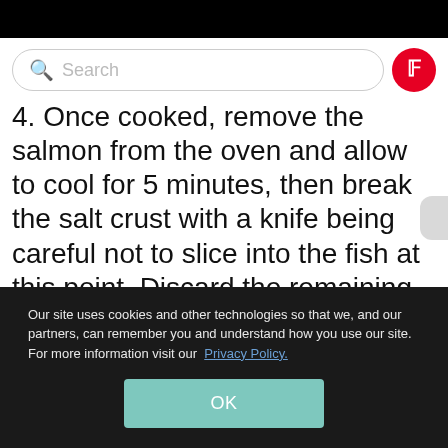[Figure (screenshot): Pinterest search bar with green magnifying glass icon and red Pinterest logo button]
4. Once cooked, remove the salmon from the oven and allow to cool for 5 minutes, then break the salt crust with a knife being careful not to slice into the fish at this point. Discard the remaining salt, brushing away any excess from the top of the salmon. At
Our site uses cookies and other technologies so that we, and our partners, can remember you and understand how you use our site. For more information visit our Privacy Policy.
OK